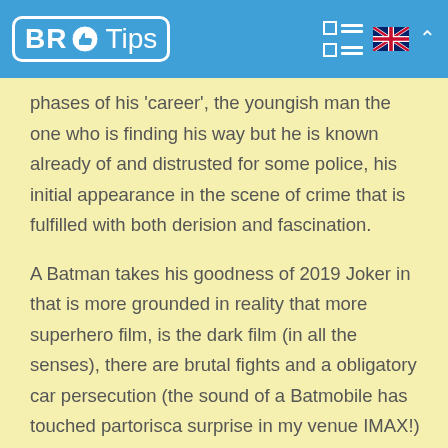BR Tips
phases of his 'career', the youngish man the one who is finding his way but he is known already of and distrusted for some police, his initial appearance in the scene of crime that is fulfilled with both derision and fascination.
A Batman takes his goodness of 2019 Joker in that is more grounded in reality that more superhero film, is the dark film (in all the senses), there are brutal fights and a obligatory car persecution (the sound of a Batmobile has touched partorisca surprise in my venue IMAX!) But this is not the film partorisca young girls, any